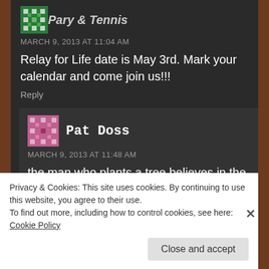MARCH 9, 2013 AT 11:04 AM
Relay for Life date is May 3rd. Mark your calendar and come join us!!!
Reply
Pat Doss
MARCH 9, 2013 AT 11:48 AM
the man who plants a tree believes in the f...
Privacy & Cookies: This site uses cookies. By continuing to use this website, you agree to their use.
To find out more, including how to control cookies, see here: Cookie Policy
Close and accept